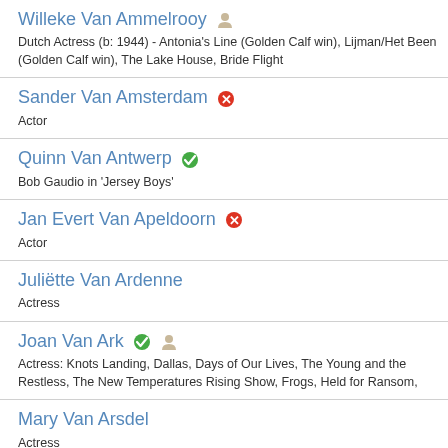Willeke Van Ammelrooy — Dutch Actress (b: 1944) - Antonia's Line (Golden Calf win), Lijman/Het Been (Golden Calf win), The Lake House, Bride Flight
Sander Van Amsterdam — Actor
Quinn Van Antwerp — Bob Gaudio in 'Jersey Boys'
Jan Evert Van Apeldoorn — Actor
Juliëtte Van Ardenne — Actress
Joan Van Ark — Actress: Knots Landing, Dallas, Days of Our Lives, The Young and the Restless, The New Temperatures Rising Show, Frogs, Held for Ransom,
Mary Van Arsdel — Actress
Peter Van Asbroeck — Belgian actor